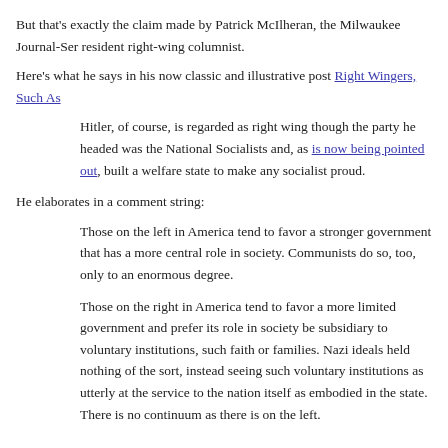But that's exactly the claim made by Patrick McIlheran, the Milwaukee Journal-Sentinel's resident right-wing columnist.
Here's what he says in his now classic and illustrative post Right Wingers, Such As
Hitler, of course, is regarded as right wing though the party he headed was the National Socialists and, as is now being pointed out, built a welfare state to make any socialist proud.
He elaborates in a comment string:
Those on the left in America tend to favor a stronger government that has a more central role in society. Communists do so, too, only to an enormous degree.
Those on the right in America tend to favor a more limited government and prefer its role in society be subsidiary to voluntary institutions, such faith or families. Nazi ideals held nothing of the sort, instead seeing such voluntary institutions as utterly at the service to the nation itself as embodied in the state. There is no continuum as there is on the left.